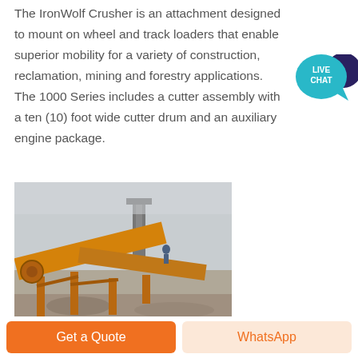The IronWolf Crusher is an attachment designed to mount on wheel and track loaders that enable superior mobility for a variety of construction, reclamation, mining and forestry applications. The 1000 Series includes a cutter assembly with a ten (10) foot wide cutter drum and an auxiliary engine package.
[Figure (photo): Industrial crusher/mining machine with orange conveyor belts, support legs, and crane tower at a mining or quarry site.]
Get a Quote
WhatsApp